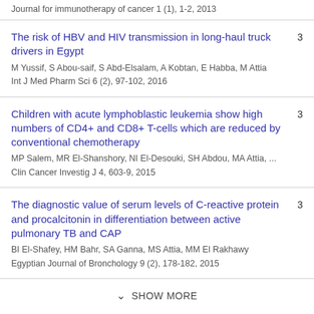Journal for immunotherapy of cancer 1 (1), 1-2, 2013
The risk of HBV and HIV transmission in long-haul truck drivers in Egypt
M Yussif, S Abou-saif, S Abd-Elsalam, A Kobtan, E Habba, M Attia
Int J Med Pharm Sci 6 (2), 97-102, 2016
Children with acute lymphoblastic leukemia show high numbers of CD4+ and CD8+ T-cells which are reduced by conventional chemotherapy
MP Salem, MR El-Shanshory, NI El-Desouki, SH Abdou, MA Attia, ...
Clin Cancer Investig J 4, 603-9, 2015
The diagnostic value of serum levels of C-reactive protein and procalcitonin in differentiation between active pulmonary TB and CAP
BI El-Shafey, HM Bahr, SA Ganna, MS Attia, MM El Rakhawy
Egyptian Journal of Bronchology 9 (2), 178-182, 2015
SHOW MORE